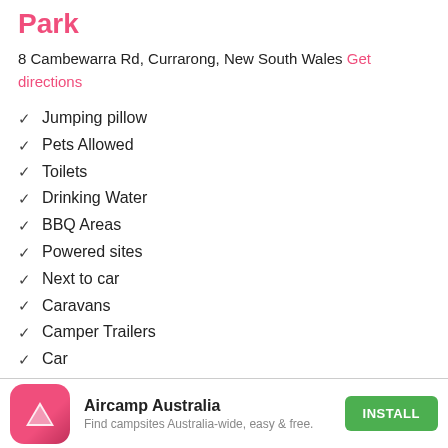Park
8 Cambewarra Rd, Currarong, New South Wales Get directions
✓ Jumping pillow
✓ Pets Allowed
✓ Toilets
✓ Drinking Water
✓ BBQ Areas
✓ Powered sites
✓ Next to car
✓ Caravans
✓ Camper Trailers
✓ Car
✓ Disabled Access
[Figure (logo): Aircamp Australia app icon — rounded square with pink/red gradient background and white triangle logo]
Aircamp Australia
Find campsites Australia-wide, easy & free.